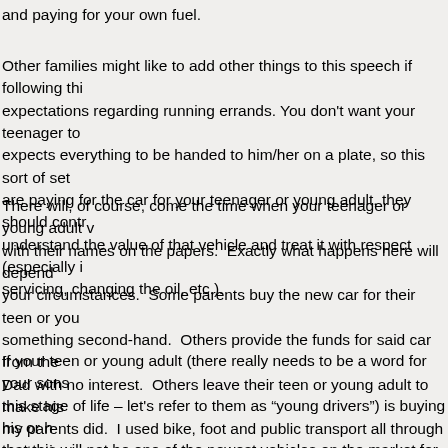and paying for your own fuel.
Other families might like to add other things to this speech if following thi expectations regarding running errands. You don't want your teenager to expects everything to be handed to him/her on a plate, so this sort of set are paying for the car for your teenager or young adult, they should contr understand the value of that vehicle and treat it with respect (especially i servicing, changing the oil, etc.).
There will, of course, come the time when your teenager or young adult v with their names on the papers.  Exactly what happens here will depend your circumstances.  Some parents buy the new car for their teen or you something second-hand.  Others provide the funds for said car from the Dad with no interest.  Others leave their teen or young adult to make his my parents did.  I used bike, foot and public transport all through my terti was out in the big wide world of work, I took care of my own transportatio
If your teen or young adult (there really needs to be a word for your sons this stage of life – let's refer to them as "young drivers") is buying his or h that this will not be one of the newest vehicles on the market for the simp one gets when leaving home and entering the workforce isn't going to be repayments.  This leads to my second problem with those articles that re with all the active and passive safety gear for their teenagers.